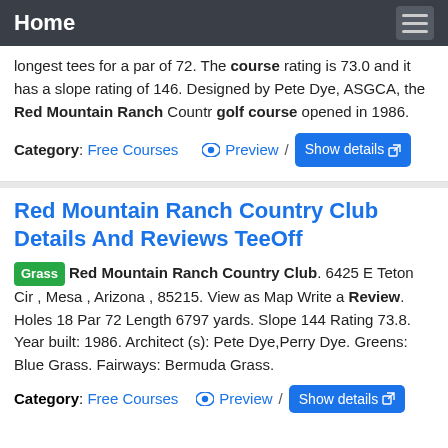Home
longest tees for a par of 72. The course rating is 73.0 and it has a slope rating of 146. Designed by Pete Dye, ASGCA, the Red Mountain Ranch Countr golf course opened in 1986.
Category: Free Courses   Preview / Show details
Red Mountain Ranch Country Club Details And Reviews TeeOff
Grass Red Mountain Ranch Country Club. 6425 E Teton Cir , Mesa , Arizona , 85215. View as Map Write a Review. Holes 18 Par 72 Length 6797 yards. Slope 144 Rating 73.8. Year built: 1986. Architect (s): Pete Dye,Perry Dye. Greens: Blue Grass. Fairways: Bermuda Grass.
Category: Free Courses   Preview / Show details